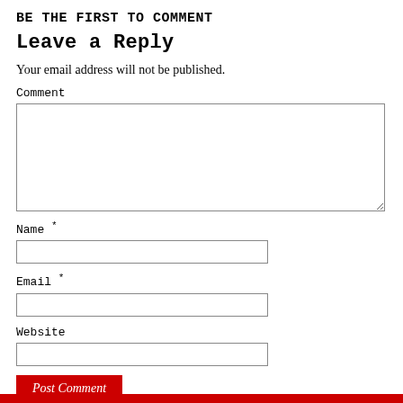Be the first to comment
Leave a Reply
Your email address will not be published.
Comment
Name *
Email *
Website
Post Comment